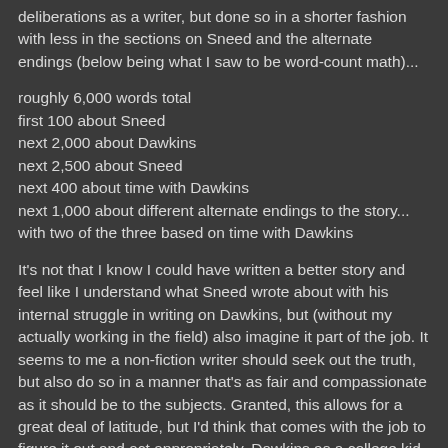deliberations as a writer, but done so in a shorter fashion with less in the sections on Sneed and the alternate endings (below being what I saw to be word-count math)...
roughly 6,000 words total
first 100 about Sneed
next 2,000 about Dawkins
next 2,500 about Sneed
next 400 about time with Dawkins
next 1,000 about different alternate endings to the story... with two of the three based on time with Dawkins
It's not that I know I could have written a better story and feel like I understand what Sneed wrote about with his internal struggle in writing on Dawkins, but (without my actually working in the field) also imagine it part of the job. It seems to me a non-fiction writer should seek out the truth, but also do so in a manner that's as fair and compassionate as it should be to the subjects. Granted, this allows for a great deal of latitude, but I'd think that comes with the job to figure it out and act appropriately. Dawkins as a college kid may well warrant a different threshold than perhaps a